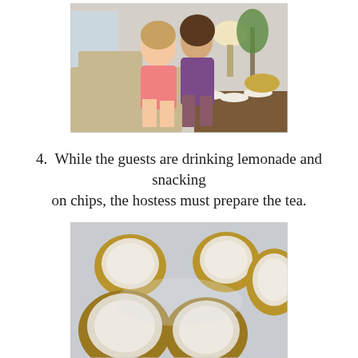[Figure (photo): Two young women sitting together on a couch in a living room. One wearing pink dress, another in purple/maroon. Background shows a lamp, plant, and a table with plates and food bowls.]
4.  While the guests are drinking lemonade and snacking on chips, the hostess must prepare the tea.
[Figure (photo): Close-up photo of several round gold-rimmed cups or bowls viewed from above on a light surface, containing a white/milky liquid (tea).]